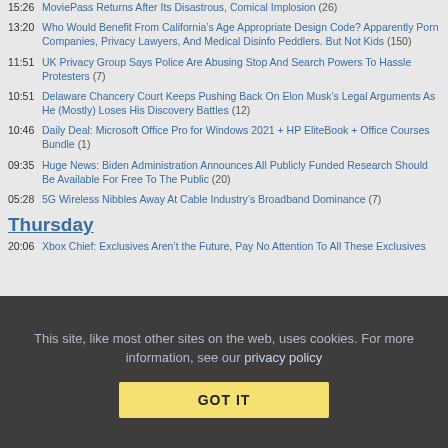15:26 MoviePass Returns After Its Disastrous, Comical Implosion (26)
13:20 Who Would Benefit From California’s Age Appropriate Design Code? Apparently Porn Companies, Privacy Lawyers, And Medical Disinfo Peddlers. But Not Kids (150)
11:51 UK Privacy Group Says Police Are Abusing Stop And Search Powers To Hassle Protesters (7)
10:51 Delaware Chancery Court Keeps Pushing Back On Elon Musk’s Legal Arguments As He (Mostly) Loses His Discovery Battles (12)
10:46 Daily Deal: Microsoft Office Pro for Windows 2021 + HP EliteBook + Office Courses Bundle (1)
09:35 Huge News: Biden Administration Announces All Publicly Funded Research Should Be Available For Free To The Public (20)
05:28 5G Wireless Nibbles Away At Cable Industry’s Broadband Dominance (7)
Thursday
20:06 Xbox Chief: Exclusives Aren’t the Future, Pay No Attention To All These Exclusives
This site, like most other sites on the web, uses cookies. For more information, see our privacy policy
GOT IT